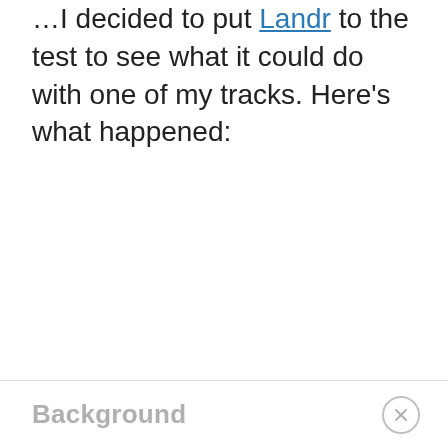I decided to put Landr to the test to see what it could do with one of my tracks. Here's what happened:
Background